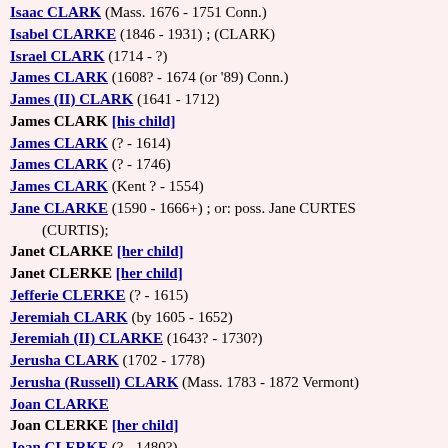Isaac CLARK (Mass. 1676 - 1751 Conn.)
Isabel CLARKE (1846 - 1931) ; (CLARK)
Israel CLARK (1714 - ?)
James CLARK (1608? - 1674 (or '89) Conn.)
James (II) CLARK (1641 - 1712)
James CLARK [his child]
James CLARK (? - 1614)
James CLARK (? - 1746)
James CLARK (Kent ? - 1554)
Jane CLARKE (1590 - 1666+) ; or: poss. Jane CURTES (CURTIS);
Janet CLARKE [her child]
Janet CLERKE [her child]
Jefferie CLERKE (? - 1615)
Jeremiah CLARK (by 1605 - 1652)
Jeremiah (II) CLARKE (1643? - 1730?)
Jerusha CLARK (1702 - 1778)
Jerusha (Russell) CLARK (Mass. 1783 - 1872 Vermont)
Joan CLARKE
Joan CLERKE [her child]
Joan CLERKE (? - 1480?)
Joan (CLERKE) of RYCOTE (1380 - 1407 Oxfords.)
Joane CLARK (1528? - 1568?)
Joane CLARK [her child]
Joane CLARK (Essex 1596 - 1675 Mass.)